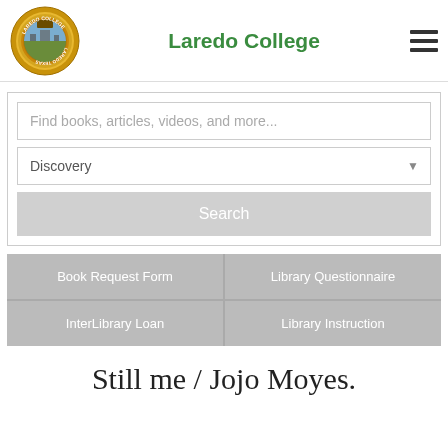[Figure (logo): Laredo College circular seal with gold/yellow border, featuring a landscape with buildings and text 'Laredo College' and 'Laredo Texas']
Laredo College
[Figure (other): Hamburger menu icon (three horizontal bars)]
Find books, articles, videos, and more...
Discovery
Search
Book Request Form
Library Questionnaire
InterLibrary Loan
Library Instruction
Still me / Jojo Moyes.